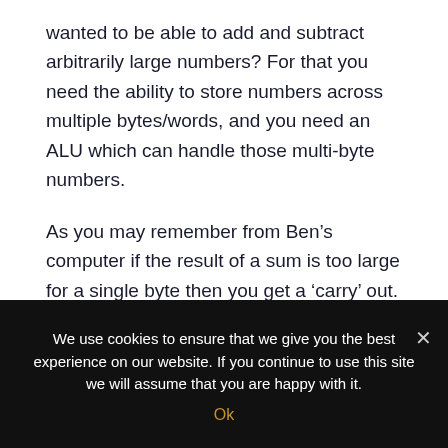wanted to be able to add and subtract arbitrarily large numbers? For that you need the ability to store numbers across multiple bytes/words, and you need an ALU which can handle those multi-byte numbers.
As you may remember from Ben’s computer if the result of a sum is too large for a single byte then you get a ‘carry’ out. To be able to do multi-byte arithmetic the ALU needs some way to feed that carry into the next calculation.
We use cookies to ensure that we give you the best experience on our website. If you continue to use this site we will assume that you are happy with it.
Ok